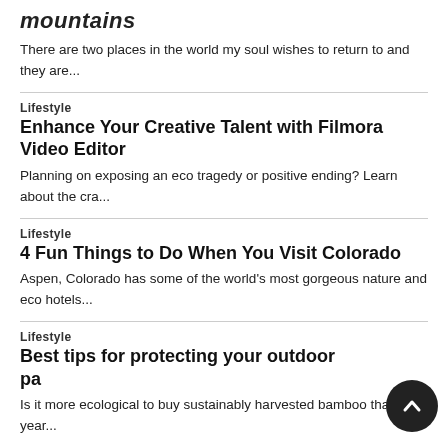mountains
There are two places in the world my soul wishes to return to and they are...
Lifestyle
Enhance Your Creative Talent with Filmora Video Editor
Planning on exposing an eco tragedy or positive ending? Learn about the cra...
Lifestyle
4 Fun Things to Do When You Visit Colorado
Aspen, Colorado has some of the world's most gorgeous nature and eco hotels...
Lifestyle
Best tips for protecting your outdoor pa
Is it more ecological to buy sustainably harvested bamboo that year...